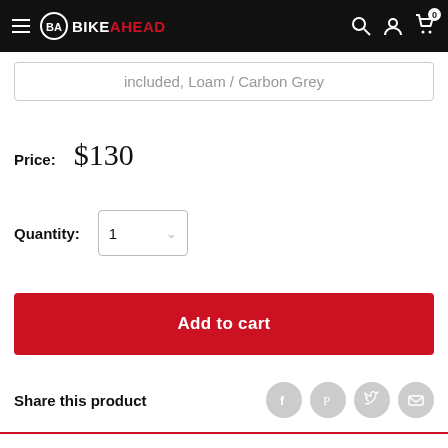BikeAhead
included, Loam / Carbon Grey
Price: $130
Quantity: 1
Add to cart
Share this product